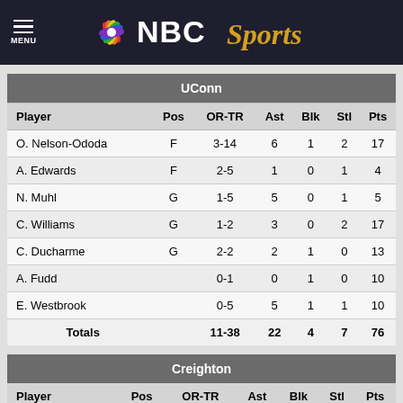NBC Sports
| Player | Pos | OR-TR | Ast | Blk | Stl | Pts |
| --- | --- | --- | --- | --- | --- | --- |
| O. Nelson-Ododa | F | 3-14 | 6 | 1 | 2 | 17 |
| A. Edwards | F | 2-5 | 1 | 0 | 1 | 4 |
| N. Muhl | G | 1-5 | 5 | 0 | 1 | 5 |
| C. Williams | G | 1-2 | 3 | 0 | 2 | 17 |
| C. Ducharme | G | 2-2 | 2 | 1 | 0 | 13 |
| A. Fudd |  | 0-1 | 0 | 1 | 0 | 10 |
| E. Westbrook |  | 0-5 | 5 | 1 | 1 | 10 |
| Totals |  | 11-38 | 22 | 4 | 7 | 76 |
| Player | Pos | OR-TR | Ast | Blk | Stl | Pts |
| --- | --- | --- | --- | --- | --- | --- |
| E. Ronsiek | F | 1-2 | 3 | 2 | 0 | 5 |